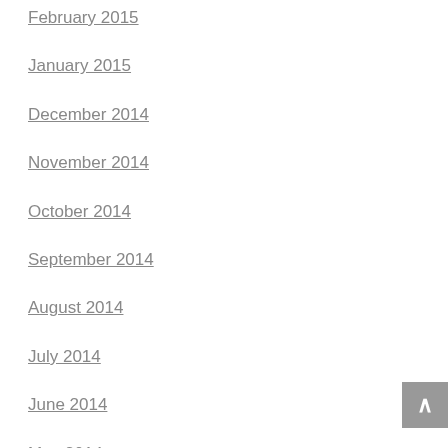February 2015
January 2015
December 2014
November 2014
October 2014
September 2014
August 2014
July 2014
June 2014
May 2014
April 2014